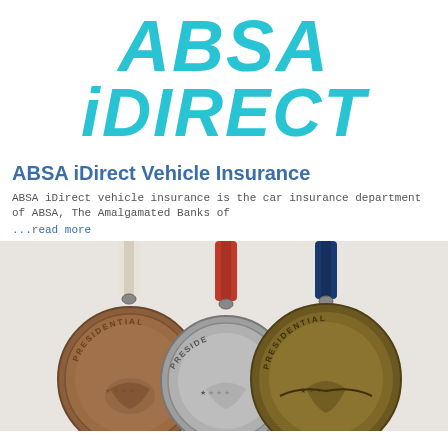[Figure (logo): ABSA iDirect logo in large teal/cyan italic bold text, two lines: ABSA on top, iDIRECT below]
ABSA iDirect Vehicle Insurance
ABSA iDirect vehicle insurance is the car insurance department of ABSA, The Amalgamated Banks of
...read more
[Figure (photo): Three presidential medals hanging by ribbons (white, red, and blue/navy). The medals are bronze, silver, and gold colored, each engraved with PRESIDENTIAL text and an eagle design.]